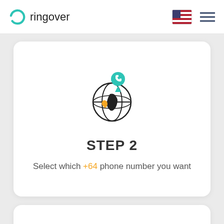ringover
[Figure (illustration): Globe icon with a teal phone location pin on top and an orange location marker, black outline style illustration]
STEP 2
Select which +64 phone number you want